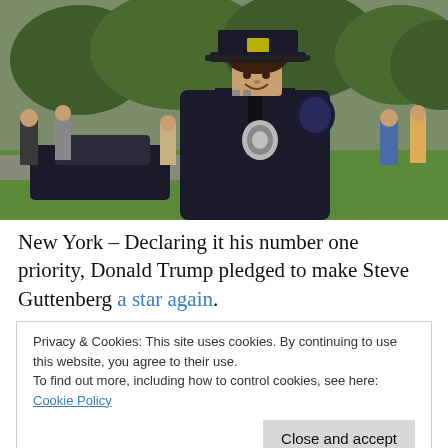[Figure (photo): A smiling man dressed in a dark police uniform with badge and cap, standing outdoors with trees, people, and a dark car in the background.]
New York – Declaring it his number one priority, Donald Trump pledged to make Steve Guttenberg a star again.
Privacy & Cookies: This site uses cookies. By continuing to use this website, you agree to their use.
To find out more, including how to control cookies, see here: Cookie Policy
Trump said. "Imagine a new Police Academy, only this